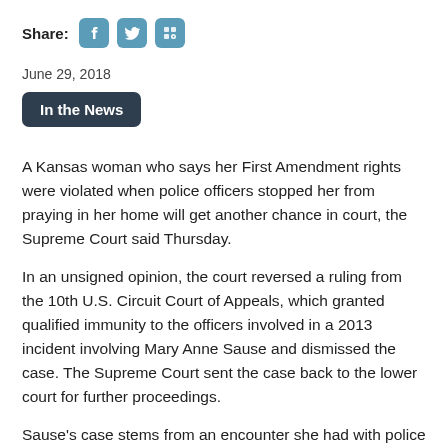Share:
June 29, 2018
In the News
A Kansas woman who says her First Amendment rights were violated when police officers stopped her from praying in her home will get another chance in court, the Supreme Court said Thursday.
In an unsigned opinion, the court reversed a ruling from the 10th U.S. Circuit Court of Appeals, which granted qualified immunity to the officers involved in a 2013 incident involving Mary Anne Sause and dismissed the case. The Supreme Court sent the case back to the lower court for further proceedings.
Sause's case stems from an encounter she had with police who visited her apartment in response to a noise